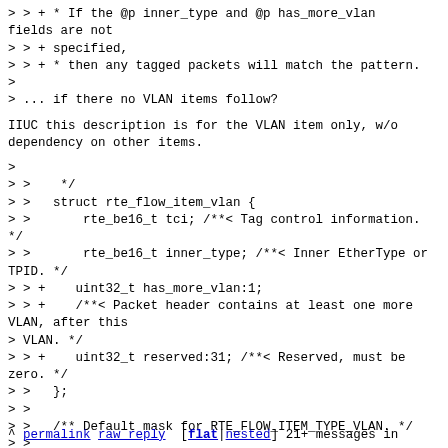> > + * If the @p inner_type and @p has_more_vlan fields are not
> > + specified,
> > + * then any tagged packets will match the pattern.
>
> ... if there no VLAN items follow?
IIUC this description is for the VLAN item only, w/o dependency on other items.
>
> >    */
> >   struct rte_flow_item_vlan {
> >       rte_be16_t tci; /**< Tag control information. */
> >       rte_be16_t inner_type; /**< Inner EtherType or TPID. */
> > +    uint32_t has_more_vlan:1;
> > +    /**< Packet header contains at least one more VLAN, after this
> VLAN. */
> > +    uint32_t reserved:31; /**< Reserved, must be zero. */
> >   };
> >
> >   /** Default mask for RTE_FLOW_ITEM_TYPE_VLAN. */
> >
^ permalink raw reply  [flat|nested] 21+ messages in